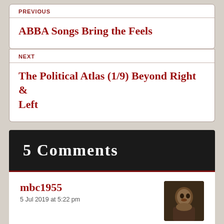PREVIOUS
ABBA Songs Bring the Feels
NEXT
The Political Atlas (1/9) Beyond Right & Left
5 Comments
mbc1955
5 Jul 2019 at 5:22 pm
Your experiences are beyond anything I've ever had to deal with but you fill me with nothing but admiration. I can only hope that if any of my friends had transitioned